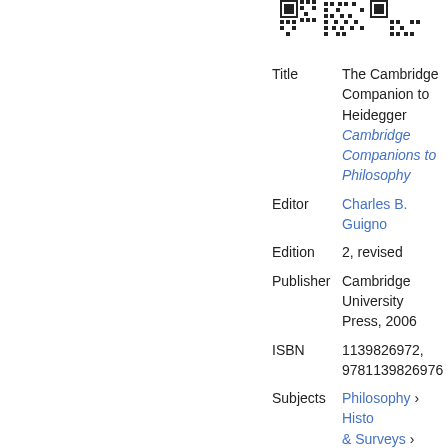[Figure (other): QR code at top right of page]
| Field | Value |
| --- | --- |
| Title | The Cambridge Companion to Heidegger
Cambridge Companions to Philosophy |
| Editor | Charles B. Guignon |
| Edition | 2, revised |
| Publisher | Cambridge University Press, 2006 |
| ISBN | 1139826972, 9781139826976 |
| Subjects | Philosophy › History & Surveys › Modern
History / Social History
Philosophy / History & Surveys / Modern
Political Science... |